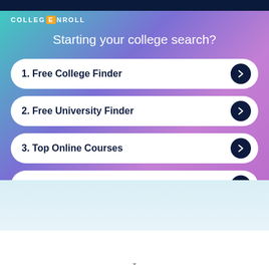[Figure (logo): CollegEnroll logo with orange E box and white text on dark navy bar]
Starting your college search?
1. Free College Finder
2. Free University Finder
3. Top Online Courses
4. Top College Degrees